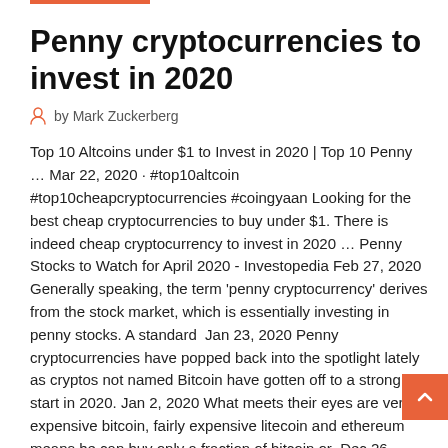Penny cryptocurrencies to invest in 2020
by Mark Zuckerberg
Top 10 Altcoins under $1 to Invest in 2020 | Top 10 Penny … Mar 22, 2020 · #top10altcoin #top10cheapcryptocurrencies #coingyaan Looking for the best cheap cryptocurrencies to buy under $1. There is indeed cheap cryptocurrency to invest in 2020 … Penny Stocks to Watch for April 2020 - Investopedia Feb 27, 2020 Generally speaking, the term 'penny cryptocurrency' derives from the stock market, which is essentially investing in penny stocks. A standard  Jan 23, 2020 Penny cryptocurrencies have popped back into the spotlight lately as cryptos not named Bitcoin have gotten off to a strong start in 2020. Jan 2, 2020 What meets their eyes are very expensive bitcoin, fairly expensive litecoin and ethereum means he can buy only a fraction of bitcoin or  Dec 26, 2019, if someone looking for a cryptocurrency under US$1, the